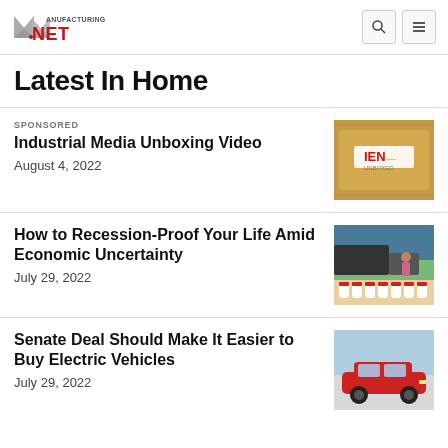Manufacturing.net
Latest In Home
SPONSORED
Industrial Media Unboxing Video
August 4, 2022
[Figure (photo): IEN Unboxed label on a cardboard box]
How to Recession-Proof Your Life Amid Economic Uncertainty
July 29, 2022
[Figure (photo): Woman loading jugs of water into a car trunk]
Senate Deal Should Make It Easier to Buy Electric Vehicles
July 29, 2022
[Figure (photo): Red electric vehicle]